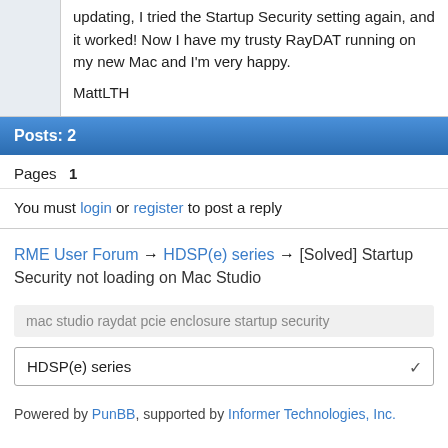updating, I tried the Startup Security setting again, and it worked! Now I have my trusty RayDAT running on my new Mac and I'm very happy.

MattLTH
Posts: 2
Pages   1
You must login or register to post a reply
RME User Forum → HDSP(e) series → [Solved] Startup Security not loading on Mac Studio
mac studio raydat pcie enclosure startup security
HDSP(e) series
Powered by PunBB, supported by Informer Technologies, Inc.